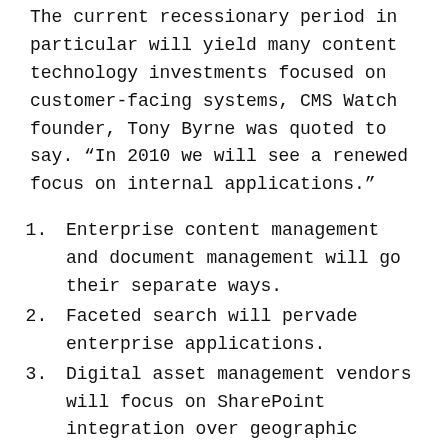The current recessionary period in particular will yield many content technology investments focused on customer-facing systems, CMS Watch founder, Tony Byrne was quoted to say. “In 2010 we will see a renewed focus on internal applications.”
Enterprise content management and document management will go their separate ways.
Faceted search will pervade enterprise applications.
Digital asset management vendors will focus on SharePoint integration over geographic expansion.
Mobile will come of age for document management and enterprise search.
Web content management vendors will give